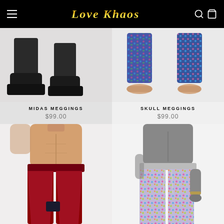Love Khaos
[Figure (photo): Product photo of Midas Meggings - legs and black boots visible from knees down]
MIDAS MEGGINGS
$99.00
[Figure (photo): Product photo of Skull Meggings - legs with colorful/patterned leggings visible from knees down, bare feet]
SKULL MEGGINGS
$99.00
[Figure (photo): Product photo of male model wearing red/dark red patterned meggings with dark wrist cuff, torso visible]
[Figure (photo): Product photo of male mannequin wearing colorful multi-color patterned jogger pants, torso visible]